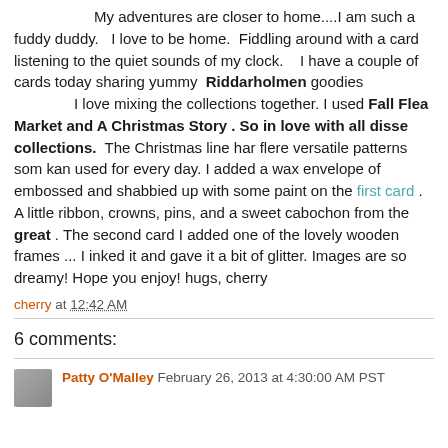My adventures are closer to home....I am such a fuddy duddy.  I love to be home.  Fiddling around with a card listening to the quiet sounds of my clock.   I have a couple of cards today sharing yummy  Riddarholmen goodies
       I love mixing the collections together. I used Fall Flea Market and A Christmas Story . So in love with all disse collections.  The Christmas line har flere versatile patterns som kan used for every day. I added a wax envelope of embossed and shabbied up with some paint on the first card . A little ribbon, crowns, pins, and a sweet cabochon from the great . The second card I added one of the lovely wooden frames ... I inked it and gave it a bit of glitter. Images are so dreamy! Hope you enjoy! hugs, cherry
cherry at 12:42 AM
6 comments:
Patty O'Malley February 26, 2013 at 4:30:00 AM PST